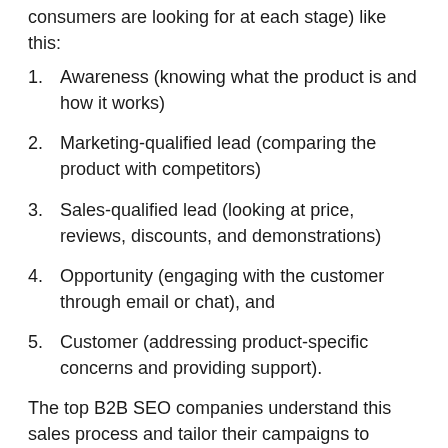consumers are looking for at each stage) like this:
Awareness (knowing what the product is and how it works)
Marketing-qualified lead (comparing the product with competitors)
Sales-qualified lead (looking at price, reviews, discounts, and demonstrations)
Opportunity (engaging with the customer through email or chat), and
Customer (addressing product-specific concerns and providing support).
The top B2B SEO companies understand this sales process and tailor their campaigns to support this